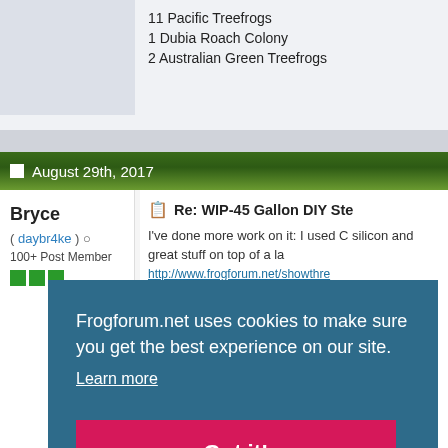11 Pacific Treefrogs
1 Dubia Roach Colony
2 Australian Green Treefrogs
August 29th, 2017
Bryce
( daybr4ke ) ○
100+ Post Member
Re: WIP-45 Gallon DIY Ste
I've done more work on it: I used C silicon and great stuff on top of a la http://www.frogforum.net/showthre here be the foa oles nea think I'r ake a si ch it hel
Frogforum.net uses cookies to make sure you get the best experience on our site.
Learn more
Got it!